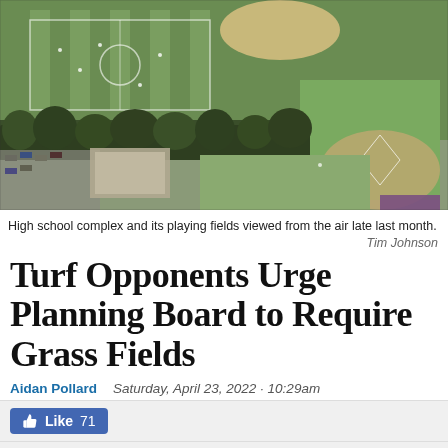[Figure (photo): Aerial view of a high school complex and its playing fields showing green grass fields, a baseball diamond, parking areas, and surrounding trees taken late last month.]
High school complex and its playing fields viewed from the air late last month.
Tim Johnson
Turf Opponents Urge Planning Board to Require Grass Fields
Aidan Pollard   Saturday, April 23, 2022 · 10:29am